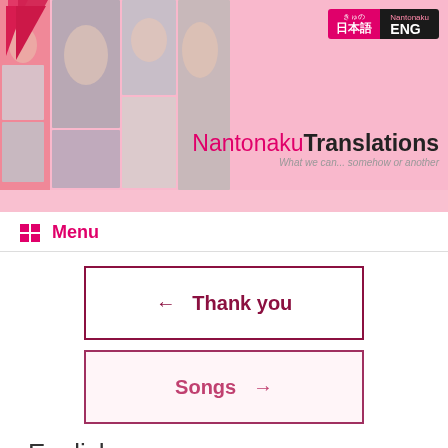[Figure (screenshot): Website header banner with pink background, photo collage of young women on left, site logo/diagonal red mark top-left, language toggle (Japanese/ENG) top-right, NantonakuTranslations site title and tagline on right]
Menu
← Thank you
Songs →
English
Posted on February 18, 2010 by sferris
Good morning!